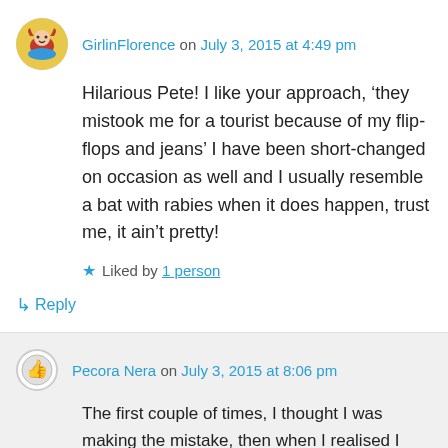GirlinFlorence on July 3, 2015 at 4:49 pm
Hilarious Pete! I like your approach, ‘they mistook me for a tourist because of my flip-flops and jeans’ I have been short-changed on occasion as well and I usually resemble a bat with rabies when it does happen, trust me, it ain’t pretty!
Liked by 1 person
↳ Reply
Pecora Nera on July 3, 2015 at 8:06 pm
The first couple of times, I thought I was making the mistake, then when I realised I